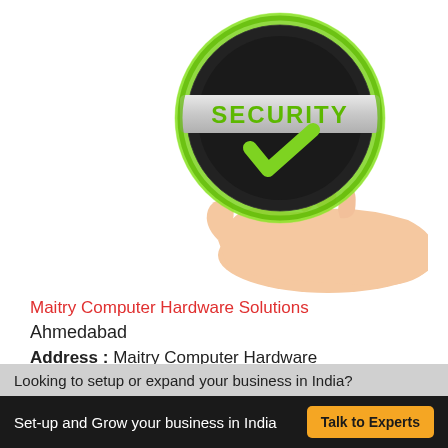[Figure (illustration): A hand holding a circular security badge with green border, dark center, green checkmark, and 'SECURITY' text in green on a silver banner across the badge.]
Maitry Computer Hardware Solutions
Ahmedabad
Address : Maitry Computer Hardware SolutionsRanip, New Ranip, ,Ahmedabad,India
Contact supplier
Looking to setup or expand your business in India?
Set-up and Grow your business in India
Talk to Experts